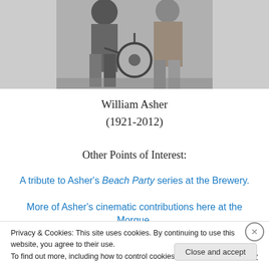[Figure (photo): Black and white photograph of people, partially visible, cropped]
William Asher
(1921-2012)
Other Points of Interest:
A tribute to Asher's Beach Party series at the Brewery.
More of Asher's cinematic contributions here at the Morgue.
Privacy & Cookies: This site uses cookies. By continuing to use this website, you agree to their use.
To find out more, including how to control cookies, see here: Cookie Policy